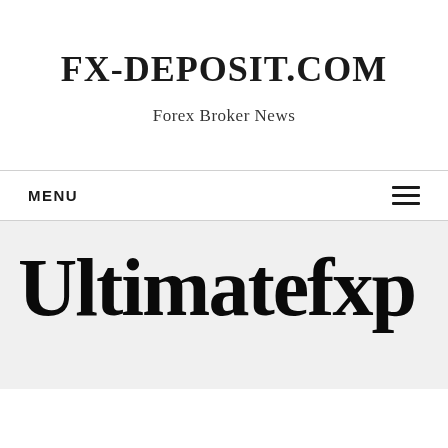FX-DEPOSIT.COM
Forex Broker News
MENU
Ultimatefxp